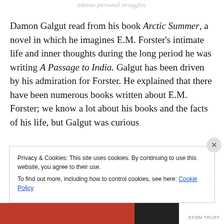intense personal struggles.
Damon Galgut read from his book Arctic Summer, a novel in which he imagines E.M. Forster's intimate life and inner thoughts during the long period he was writing A Passage to India. Galgut has been driven by his admiration for Forster. He explained that there have been numerous books written about E.M. Forster; we know a lot about his books and the facts of his life, but Galgut was curious
Privacy & Cookies: This site uses cookies. By continuing to use this website, you agree to their use.
To find out more, including how to control cookies, see here: Cookie Policy
Close and accept